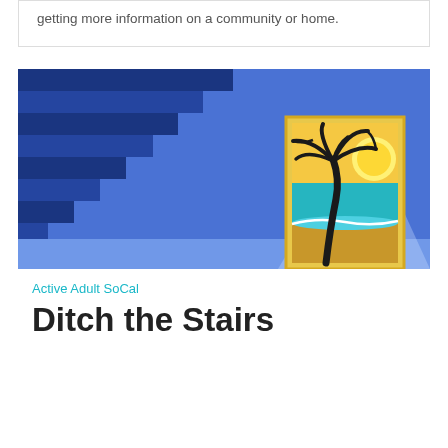getting more information on a community or home.
[Figure (illustration): Illustration of a staircase on the left side against a blue background, with an open door on the right revealing a tropical beach scene with a palm tree, sun, and ocean.]
Active Adult SoCal
Ditch the Stairs